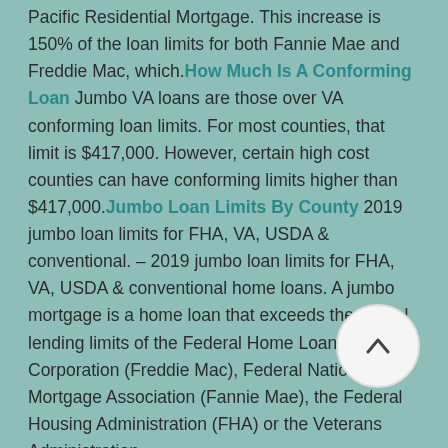Pacific Residential Mortgage. This increase is 150% of the loan limits for both Fannie Mae and Freddie Mac, which. How Much Is A Conforming Loan Jumbo VA loans are those over VA conforming loan limits. For most counties, that limit is $417,000. However, certain high cost counties can have conforming limits higher than $417,000. Jumbo Loan Limits By County 2019 jumbo loan limits for FHA, VA, USDA & conventional. – 2019 jumbo loan limits for FHA, VA, USDA & conventional home loans. A jumbo mortgage is a home loan that exceeds the typical lending limits of the Federal Home Loan Mortgage Corporation (Freddie Mac), Federal National Mortgage Association (Fannie Mae), the Federal Housing Administration (FHA) or the Veterans Administration.
View the current FHA and conforming loan limits for all